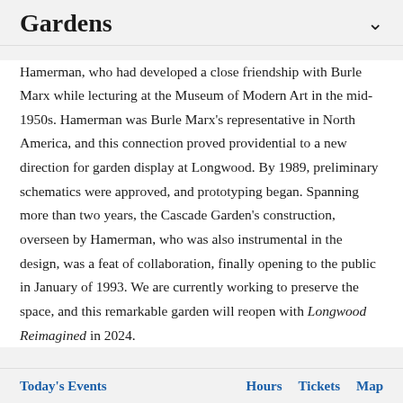Gardens
Hamerman, who had developed a close friendship with Burle Marx while lecturing at the Museum of Modern Art in the mid-1950s. Hamerman was Burle Marx's representative in North America, and this connection proved providential to a new direction for garden display at Longwood. By 1989, preliminary schematics were approved, and prototyping began. Spanning more than two years, the Cascade Garden's construction, overseen by Hamerman, who was also instrumental in the design, was a feat of collaboration, finally opening to the public in January of 1993. We are currently working to preserve the space, and this remarkable garden will reopen with Longwood Reimagined in 2024.
Today's Events   Hours   Tickets   Map